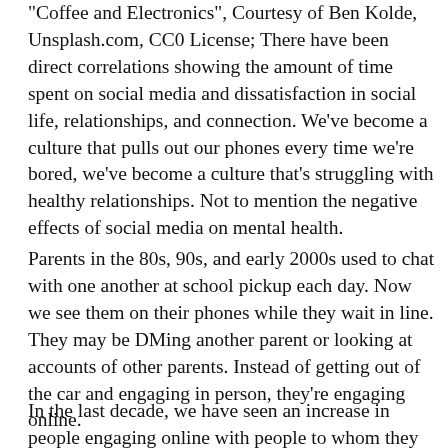"Coffee and Electronics", Courtesy of Ben Kolde, Unsplash.com, CC0 License; There have been direct correlations showing the amount of time spent on social media and dissatisfaction in social life, relationships, and connection. We've become a culture that pulls out our phones every time we're bored, we've become a culture that's struggling with healthy relationships. Not to mention the negative effects of social media on mental health.
Parents in the 80s, 90s, and early 2000s used to chat with one another at school pickup each day. Now we see them on their phones while they wait in line. They may be DMing another parent or looking at accounts of other parents. Instead of getting out of the car and engaging in person, they're engaging online.
In the last decade, we have seen an increase in people engaging online with people to whom they are in easy proximity and could engage with in person. In-person relationships are weaker than ever and millions of adults report